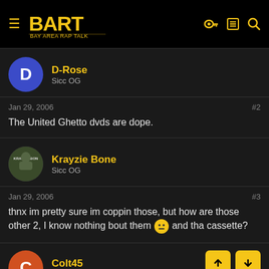BART - Bay Area Rap Talk
D-Rose
Sicc OG
Jan 29, 2006  #2
The United Ghetto dvds are dope.
Krayzie Bone
Sicc OG
Jan 29, 2006  #3
thnx im pretty sure im coppin those, but how are those other 2, I know nothing bout them 😐 and tha cassette?
Colt45
Sicc OG